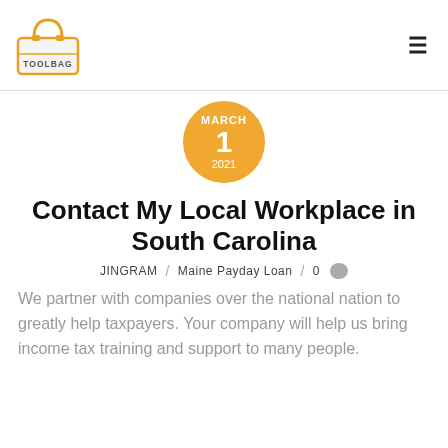[Figure (logo): The Toolbag logo — cartoon toolbox with orange handle and 'TOOLBAG' text]
MARCH 1 2021
Contact My Local Workplace in South Carolina
JINGRAM / Maine Payday Loan / 0
We partner with companies over the national nation to greatly help taxpayers. Your company will help us bring income tax training and support to many people.